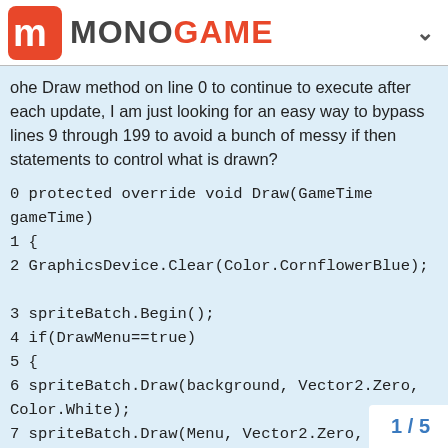MONOGAME
ohe Draw method on line 0 to continue to execute after each update, I am just looking for an easy way to bypass lines 9 through 199 to avoid a bunch of messy if then statements to control what is drawn?
0 protected override void Draw(GameTime gameTime)
1 {
2 GraphicsDevice.Clear(Color.CornflowerBlue);

3 spriteBatch.Begin();
4 if(DrawMenu==true)
5 {
6 spriteBatch.Draw(background, Vector2.Zero, Color.White);
7 spriteBatch.Draw(Menu, Vector2.Zero, Color.White);
8 }
9 else
10 {
11 spriteBatch.Draw(firstSprite, Vector2.Z
12 spriteBatch.Draw(secondSprite, Vecto
1 / 5